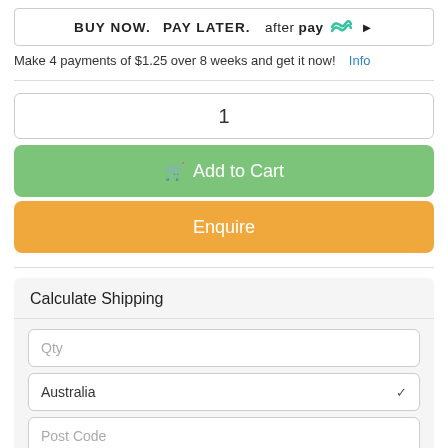[Figure (logo): Afterpay banner: BUY NOW. PAY LATER. afterpay logo with arrow]
Make 4 payments of $1.25 over 8 weeks and get it now!  Info
1
🛒 Add to Cart
Enquire
Calculate Shipping
Qty
Australia
Post Code